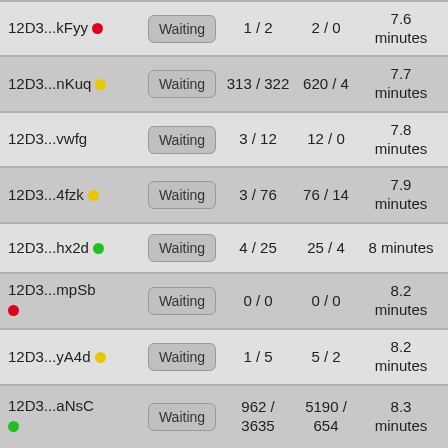| Node ID | Status | Col3 | Col4 | Time |
| --- | --- | --- | --- | --- |
| 12D3...kFyy (red) | Waiting | 1 / 2 | 2 / 0 | 7.6 minutes |
| 12D3...nKuq (yellow) | Waiting | 313 / 322 | 620 / 4 | 7.7 minutes |
| 12D3...vwfg | Waiting | 3 / 12 | 12 / 0 | 7.8 minutes |
| 12D3...4fzk (yellow) | Waiting | 3 / 76 | 76 / 14 | 7.9 minutes |
| 12D3...hx2d (green) | Waiting | 4 / 25 | 25 / 4 | 8 minutes |
| 12D3...mpSb (red) | Waiting | 0 / 0 | 0 / 0 | 8.2 minutes |
| 12D3...yA4d (yellow) | Waiting | 1 / 5 | 5 / 2 | 8.2 minutes |
| 12D3...aNsC (green) | Waiting | 962 / 3635 | 5190 / 654 | 8.3 minutes |